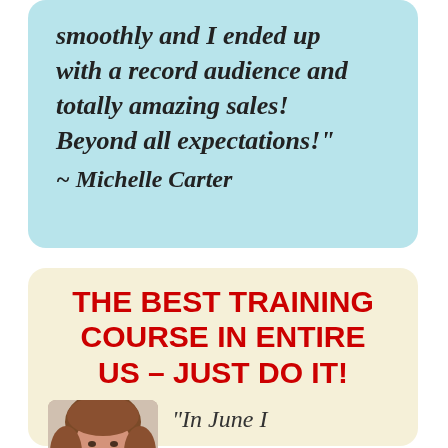smoothly and I ended up with a record audience and totally amazing sales! Beyond all expectations!" ~ Michelle Carter
THE BEST TRAINING COURSE IN ENTIRE US – JUST DO IT!
[Figure (photo): Headshot photo of a woman with brown hair]
"In June I